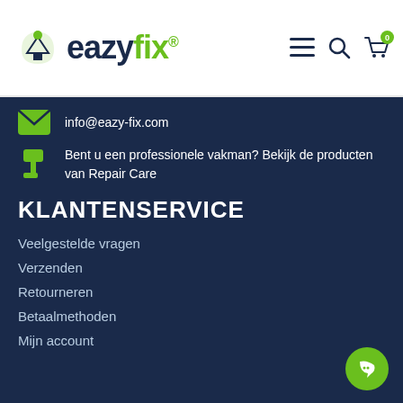[Figure (logo): eazyfix logo with green house icon, dark blue 'eazy' and green 'fix' wordmark with registered trademark symbol]
[Figure (infographic): Navigation header icons: hamburger menu, search icon, shopping cart with badge showing 0]
info@eazy-fix.com
Bent u een professionele vakman? Bekijk de producten van Repair Care
KLANTENSERVICE
Veelgestelde vragen
Verzenden
Retourneren
Betaalmethoden
Mijn account